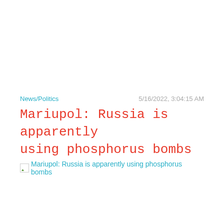News/Politics
5/16/2022, 3:04:15 AM
Mariupol: Russia is apparently using phosphorus bombs
Mariupol: Russia is apparently using phosphorus bombs